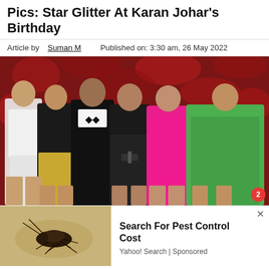Pics: Star Glitter At Karan Johar's Birthday
Article by Suman M   Published on: 3:30 am, 26 May 2022
[Figure (photo): Group photo of six Bollywood celebrities posing at Karan Johar's birthday party against a red floral backdrop. From left: a woman in white crop top and skirt, Aishwarya Rai in black and gold outfit, Abhishek Bachchan in black tuxedo, Sara Ali Khan in black feathered dress, a woman in pink outfit, and a woman in green blazer and shorts.]
[Figure (photo): Advertisement image showing a cockroach on a surface, for a pest control cost search ad from Yahoo! Search (Sponsored). Text reads: Search For Pest Control Cost. Yahoo! Search | Sponsored.]